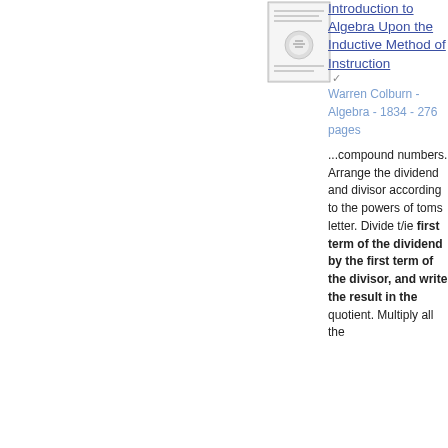[Figure (photo): Small thumbnail image of a book cover for 'Introduction to Algebra Upon the Inductive Method of Instruction']
Introduction to Algebra Upon the Inductive Method of Instruction
Warren Colburn - Algebra - 1834 - 276 pages
...compound numbers. Arrange the dividend and divisor according to the powers of toms letter. Divide t/ie first term of the dividend by the first term of the divisor, and write the result in the quotient. Multiply all the